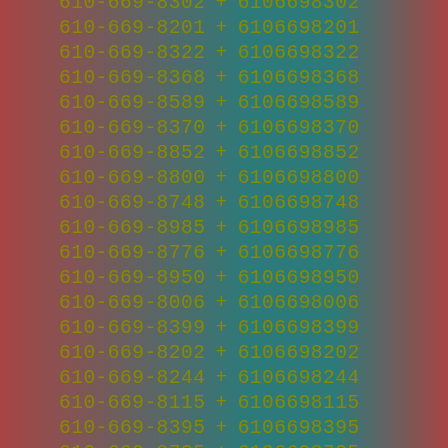| 610-669-8302 | + | 6106698302 |
| 610-669-8201 | + | 6106698201 |
| 610-669-8322 | + | 6106698322 |
| 610-669-8368 | + | 6106698368 |
| 610-669-8589 | + | 6106698589 |
| 610-669-8370 | + | 6106698370 |
| 610-669-8852 | + | 6106698852 |
| 610-669-8800 | + | 6106698800 |
| 610-669-8748 | + | 6106698748 |
| 610-669-8985 | + | 6106698985 |
| 610-669-8776 | + | 6106698776 |
| 610-669-8950 | + | 6106698950 |
| 610-669-8006 | + | 6106698006 |
| 610-669-8399 | + | 6106698399 |
| 610-669-8202 | + | 6106698202 |
| 610-669-8244 | + | 6106698244 |
| 610-669-8115 | + | 6106698115 |
| 610-669-8395 | + | 6106698395 |
| 610-669-8735 | + | 6106698735 |
| 610-669-8146 | + | 6106698146 |
| 610-669-8378 | + | 6106698378 |
| 610-669-8628 | + | 6106698628 |